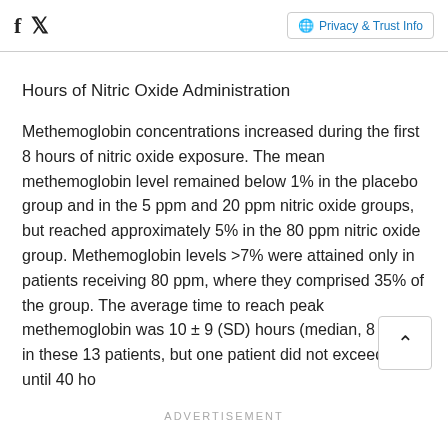Facebook | Twitter | Privacy & Trust Info
Hours of Nitric Oxide Administration
Methemoglobin concentrations increased during the first 8 hours of nitric oxide exposure. The mean methemoglobin level remained below 1% in the placebo group and in the 5 ppm and 20 ppm nitric oxide groups, but reached approximately 5% in the 80 ppm nitric oxide group. Methemoglobin levels >7% were attained only in patients receiving 80 ppm, where they comprised 35% of the group. The average time to reach peak methemoglobin was 10 ± 9 (SD) hours (median, 8 hours) in these 13 patients, but one patient did not exceed 7% until 40 ho
ADVERTISEMENT